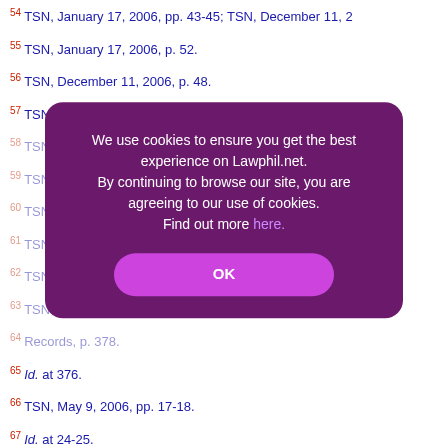54 TSN, January 17, 2006, pp. 43-45; TSN, December 11, 2...
55 TSN, January 17, 2006, p. 52.
56 TSN, December 11, 2006, p. 48.
57 TSN, January 17, 2006, p. 49; TSN, March 7, 2006, pp. 3...
58 TSN, January 17, 2006, p. 52.
59 TSN, ... FSI Shell 3, 2006, pp...
60 TSN, ... March 7, 2006, p. 38
61 TSN, January ... TSN, March 7, 2006, p...
62 TSN, January 17, 2006, pp. 60-61; TSN, December 11, 2...
63 TSN, May 9, 2006, p. 15.
64 Records, p. 378.
65 Id. at 376.
66 TSN, May 9, 2006, pp. 17-18.
67 Id. at 24-25.
68 TSN, May 28, 2007, pp. 13-14.
[Figure (screenshot): Cookie consent modal overlay on Lawphil.net with text: We use cookies to ensure you get the best experience on Lawphil.net. By continuing to browse our site, you are agreeing to our use of cookies. Find out more here. OK button.]